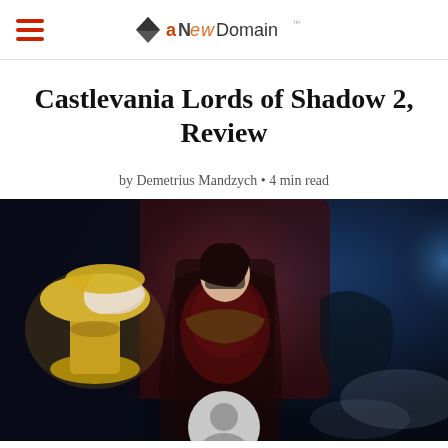aNewDomain
Castlevania Lords of Shadow 2, Review
by Demetrius Mandzych • 4 min read
[Figure (photo): Game artwork showing Dracula in ornate red armor seated on a throne, holding a golden chalice, with a dark moody blue background. A circular avatar/user icon is partially visible at the bottom center of the image.]